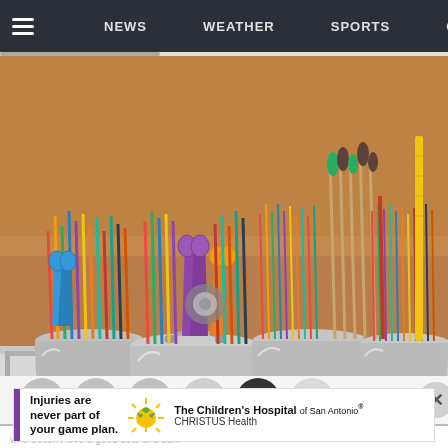NEWS   WEATHER   SPORTS   CO
[Figure (photo): Silver metal pencil holder buckets on a shelf holding colored pencils, scissors, markers, paintbrushes, and other art supplies against a wooden background]
Who doesn't love a good deal? (Pexels.)
[Figure (infographic): Advertisement banner for The Children's Hospital of San Antonio, CHRISTUS Health. Text reads: Injuries are never part of your game plan.]